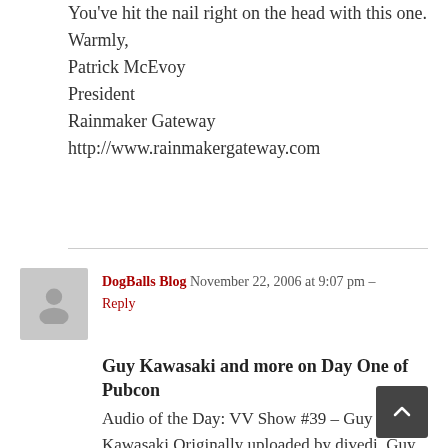You've hit the nail right on the head with this one.
Warmly,
Patrick McEvoy
President
Rainmaker Gateway
http://www.rainmakergateway.com
DogBalls Blog  November 22, 2006 at 9:07 pm – Reply
Guy Kawasaki and more on Day One of Pubcon
Audio of the Day: VV Show #39 – Guy Kawasaki Originally uploaded by divedi. Guy Kawasaki's keynote was inspiring. The powerpoint-driven conference